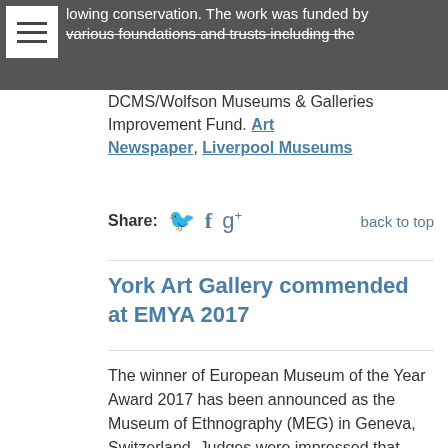lowing conservation. The work was funded by various foundations and trusts including the DCMS/Wolfson Museums & Galleries Improvement Fund. Art Newspaper, Liverpool Museums
Share:
back to top
York Art Gallery commended at EMYA 2017
The winner of European Museum of the Year Award 2017 has been announced as the Museum of Ethnography (MEG) in Geneva, Switzerland. Judges were impressed that after almost a century in operation, the museum has managed to transform its mission and approach: multiculturalism and multidisciplinary work are now central to how it operates. There were 46